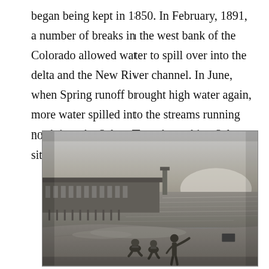began being kept in 1850. In February, 1891, a number of breaks in the west bank of the Colorado allowed water to spill over into the delta and the New River channel. In June, when Spring runoff brought high water again, more water spilled into the streams running north into the Salton Trough reaching Salton, site of the New Liverpool Salt Works.
[Figure (photo): Black and white historical photograph showing three people (two sitting, one standing and gesturing) on a shoreline or flooded area. In the background there is a long low building or structure partially submerged in water, with a hazy sky above.]